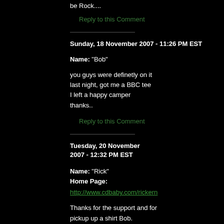be Rock....
Reply to this Comment
Sunday, 18 November 2007 - 11:26 PM EST
Name: "Bob"
you guys were definetly on it last night, got me a BBC tee  I left a happy camper  thanks..
Reply to this Comment
Tuesday, 20 November 2007 - 12:32 PM EST
Name: "Rick"
Home Page:
http://www.cdbaby.com/rickern
Thanks for the support and for pickup up a shirt Bob. Here t...